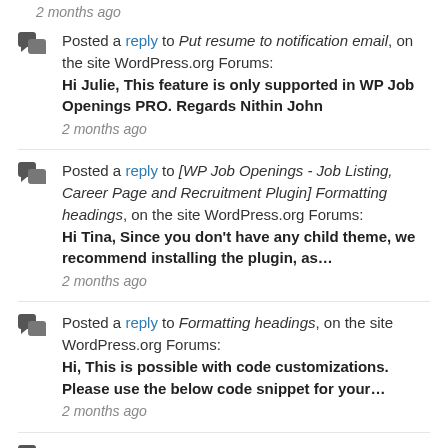2 months ago
Posted a reply to Put resume to notification email, on the site WordPress.org Forums: Hi Julie, This feature is only supported in WP Job Openings PRO. Regards Nithin John — 2 months ago
Posted a reply to [WP Job Openings - Job Listing, Career Page and Recruitment Plugin] Formatting headings, on the site WordPress.org Forums: Hi Tina, Since you don't have any child theme, we recommend installing the plugin, as… — 2 months ago
Posted a reply to Formatting headings, on the site WordPress.org Forums: Hi, This is possible with code customizations. Please use the below code snippet for your… — 2 months ago
Posted a reply to String's when in plural, on the site WordPress.org Forums: Hi Currently, there is no option to change the strings…